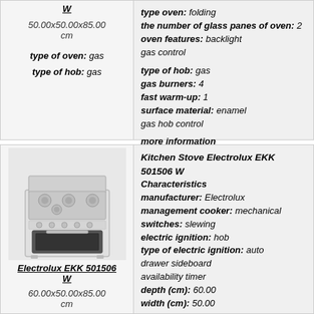type oven: folding
the number of glass panes of oven: 2
oven features: backlight
gas control
type of hob: gas
gas burners: 4
fast warm-up: 1
surface material: enamel
gas hob control
more information
[Figure (photo): White kitchen stove Electrolux EKK 501506 W with 4 gas burners and oven]
Electrolux EKK 501506 W
60.00x50.00x85.00 cm
Kitchen Stove Electrolux EKK 501506 W Characteristics
manufacturer: Electrolux
management cooker: mechanical
switches: slewing
electric ignition: hob
type of electric ignition: auto
drawer sideboard
availability timer
depth (cm): 60.00
width (cm): 50.00
height (cm): 85.00
colour: white
class of energy consumption: A
type of oven: electric
type oven: folding
oven features: backlight
type of hob: gas